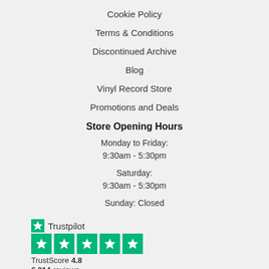Cookie Policy
Terms & Conditions
Discontinued Archive
Blog
Vinyl Record Store
Promotions and Deals
Store Opening Hours
Monday to Friday:
9:30am - 5:30pm
Saturday:
9:30am - 5:30pm
Sunday: Closed
[Figure (logo): Trustpilot logo with green star and text, followed by 5 green star rating boxes, TrustScore 4.8, 6,014 reviews]
Contact us